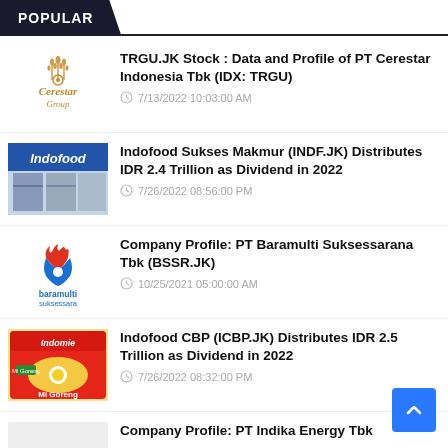POPULAR
TRGU.JK Stock : Data and Profile of PT Cerestar Indonesia Tbk (IDX: TRGU)
7/13/2022 10:03:00 AM
Indofood Sukses Makmur (INDF.JK) Distributes IDR 2.4 Trillion as Dividend in 2022
7/26/2022 08:56:00 PM
Company Profile: PT Baramulti Suksessarana Tbk (BSSR.JK)
10/25/2021 05:00:00 AM
Indofood CBP (ICBP.JK) Distributes IDR 2.5 Trillion as Dividend in 2022
7/26/2022 08:32:00 PM
Company Profile: PT Indika Energy Tbk